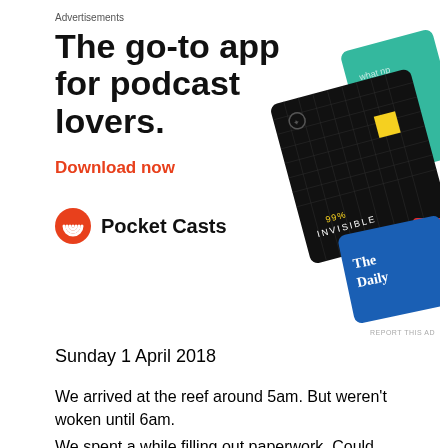Advertisements
[Figure (illustration): Pocket Casts app advertisement showing podcast app cards including 99% Invisible and The Daily, with bold headline 'The go-to app for podcast lovers.' and 'Download now' CTA in red, Pocket Casts logo and name at bottom.]
Sunday 1 April 2018
We arrived at the reef around 5am. But weren't woken until 6am.
We spent a while filling out paperwork. Could have